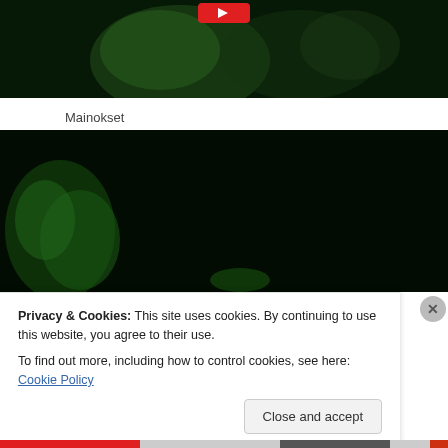[Figure (photo): Dark green-tinted video screenshot showing figures in dim green lighting, with a red play button visible at top center]
Mainokset
[Figure (photo): Dark video screenshot with green glowing elements on left side against black background]
Privacy & Cookies: This site uses cookies. By continuing to use this website, you agree to their use.
To find out more, including how to control cookies, see here: Cookie Policy
Close and accept